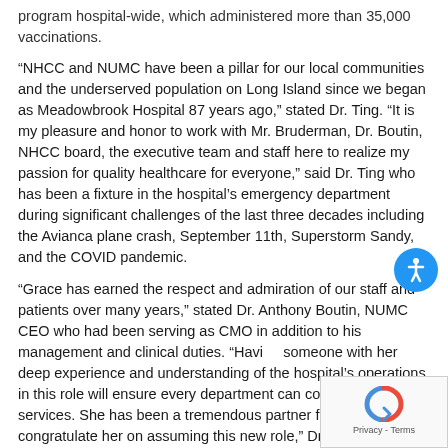program hospital-wide, which administered more than 35,000 vaccinations.
“NHCC and NUMC have been a pillar for our local communities and the underserved population on Long Island since we began as Meadowbrook Hospital 87 years ago,” stated Dr. Ting. “It is my pleasure and honor to work with Mr. Bruderman, Dr. Boutin, NHCC board, the executive team and staff here to realize my passion for quality healthcare for everyone,” said Dr. Ting who has been a fixture in the hospital’s emergency department during significant challenges of the last three decades including the Avianca plane crash, September 11th, Superstorm Sandy, and the COVID pandemic.
“Grace has earned the respect and admiration of our staff and patients over many years,” stated Dr. Anthony Boutin, NUMC CEO who had been serving as CMO in addition to his management and clinical duties. “Having someone with her deep experience and understanding of the hospital’s operations in this role will ensure every department can continually improve services. She has been a tremendous partner for me, and I congratulate her on assuming this new role,” Dr. Boutin continued.
A Nassau County resident, Dr. Ting was born in Taiwan. After coming to the United States, her family settled in Cleveland, Ohio and later Rome, New York. Once fully approved, she will also be the first Asian-American to serve as hospital CMO.
“Dr. Grace Ting doesn’t just understand hospital operations and how to ensure we provide the best patient service. She understands and cares about our communities. She was originally drawn to NUMC because of the communities we serve,” said Matthew Bruderman, NUMC Chairman.